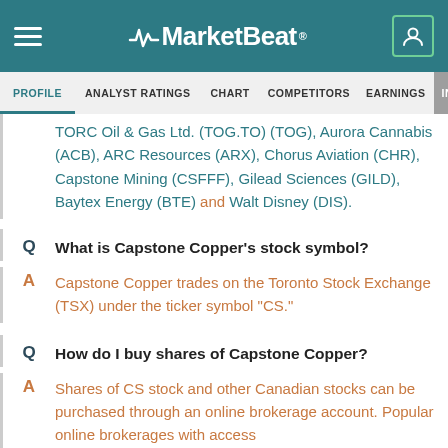MarketBeat
PROFILE | ANALYST RATINGS | CHART | COMPETITORS | EARNINGS | INSIDER T
TORC Oil & Gas Ltd. (TOG.TO) (TOG), Aurora Cannabis (ACB), ARC Resources (ARX), Chorus Aviation (CHR), Capstone Mining (CSFFF), Gilead Sciences (GILD), Baytex Energy (BTE) and Walt Disney (DIS).
Q: What is Capstone Copper's stock symbol?
A: Capstone Copper trades on the Toronto Stock Exchange (TSX) under the ticker symbol "CS."
Q: How do I buy shares of Capstone Copper?
A: Shares of CS stock and other Canadian stocks can be purchased through an online brokerage account. Popular online brokerages with access